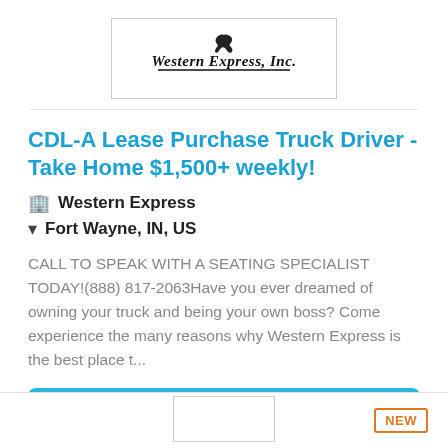[Figure (logo): Western Express, Inc. logo with horse silhouette above company name in stylized text with underline]
CDL-A Lease Purchase Truck Driver - Take Home $1,500+ weekly!
Western Express
Fort Wayne, IN, US
CALL TO SPEAK WITH A SEATING SPECIALIST TODAY!(888) 817-2063Have you ever dreamed of owning your truck and being your own boss? Come experience the many reasons why Western Express is the best place t...
More Details
NEW